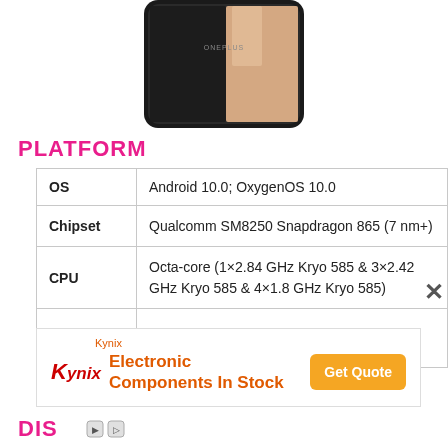[Figure (photo): OnePlus smartphone shown from front, partial view of top of device]
PLATFORM
|  |  |
| --- | --- |
| OS | Android 10.0; OxygenOS 10.0 |
| Chipset | Qualcomm SM8250 Snapdragon 865 (7 nm+) |
| CPU | Octa-core (1×2.84 GHz Kryo 585 & 3×2.42 GHz Kryo 585 & 4×1.8 GHz Kryo 585) |
| GPU |  |
[Figure (other): Kynix advertisement banner - Electronic Components In Stock with Get Quote button]
DISPLAY